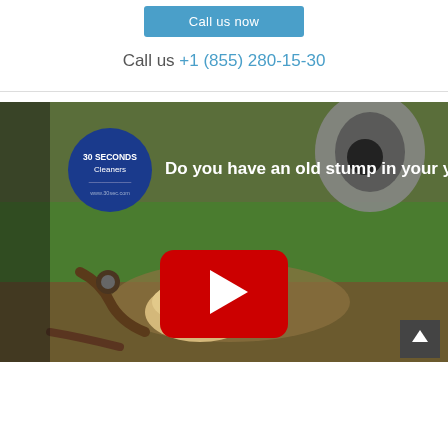Call us now
Call us +1 (855) 280-15-30
[Figure (screenshot): YouTube video thumbnail showing a tree stump grinding scene with grass and sawdust. The video title reads 'Do you have an old stump in your yard?' with a '30 Seconds Cleaners' logo badge in the upper left. A red YouTube play button is centered on the thumbnail.]